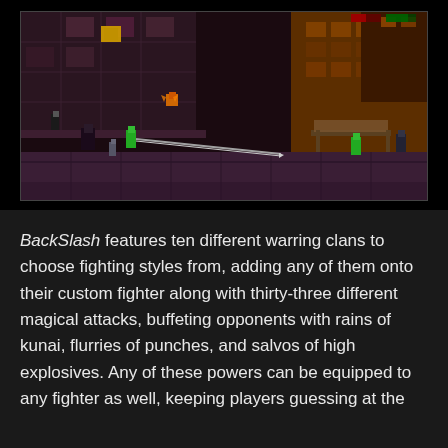[Figure (screenshot): A side-scrolling action game screenshot showing pixel-art characters fighting in a dark urban environment with buildings, platforms, and special attack animations including a long lance/spear attack.]
BackSlash features ten different warring clans to choose fighting styles from, adding any of them onto their custom fighter along with thirty-three different magical attacks, buffeting opponents with rains of kunai, flurries of punches, and salvos of high explosives. Any of these powers can be equipped to any fighter as well, keeping players guessing at the